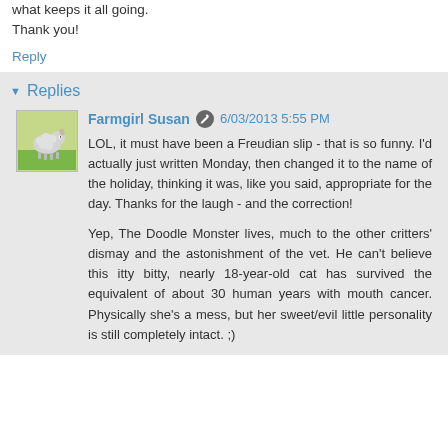what keeps it all going.
Thank you!
Reply
Replies
Farmgirl Susan · 6/03/2013 5:55 PM
LOL, it must have been a Freudian slip - that is so funny. I'd actually just written Monday, then changed it to the name of the holiday, thinking it was, like you said, appropriate for the day. Thanks for the laugh - and the correction!

Yep, The Doodle Monster lives, much to the other critters' dismay and the astonishment of the vet. He can't believe this itty bitty, nearly 18-year-old cat has survived the equivalent of about 30 human years with mouth cancer. Physically she's a mess, but her sweet/evil little personality is still completely intact. ;)